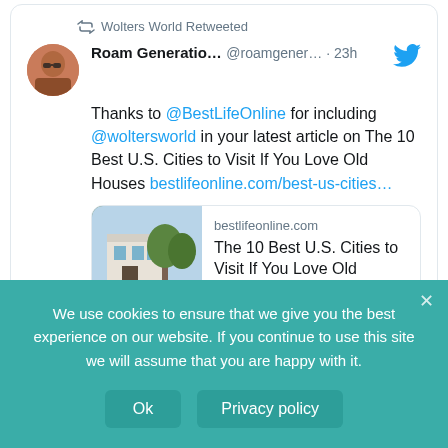Wolters World Retweeted
Roam Generatio... @roamgener... · 23h
Thanks to @BestLifeOnline for including @woltersworld in your latest article on The 10 Best U.S. Cities to Visit If You Love Old Houses bestlifeonline.com/best-us-cities...
[Figure (screenshot): Link preview card for bestlifeonline.com showing 'The 10 Best U.S. Cities to Visit If You Love Old Houses — ...' with an image of a Southern colonial house and horse carriage]
http://www.instagram.com/woltersworld
We use cookies to ensure that we give you the best experience on our website. If you continue to use this site we will assume that you are happy with it.